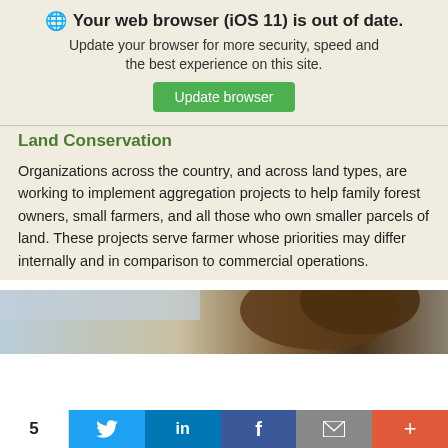[Figure (screenshot): Browser update warning banner with globe icon, bold heading 'Your web browser (iOS 11) is out of date.', subtitle text 'Update your browser for more security, speed and the best experience on this site.', and a green 'Update browser' button]
Land Conservation
Organizations across the country, and across land types, are working to implement aggregation projects to help family forest owners, small farmers, and all those who own smaller parcels of land. These projects serve farmer whose priorities may differ internally and in comparison to commercial operations.
[Figure (photo): Partial landscape photo showing sky and trees at bottom of page]
5  [Twitter]  [LinkedIn]  [Facebook]  [Email]  [+]